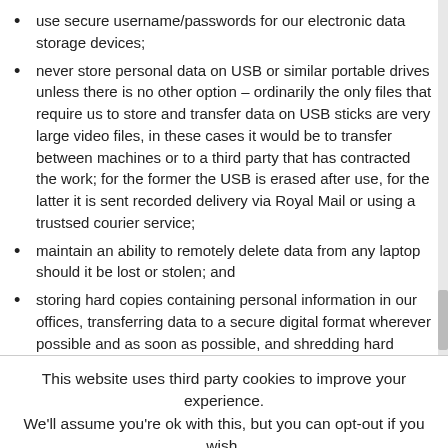use secure username/passwords for our electronic data storage devices;
never store personal data on USB or similar portable drives unless there is no other option – ordinarily the only files that require us to store and transfer data on USB sticks are very large video files, in these cases it would be to transfer between machines or to a third party that has contracted the work; for the former the USB is erased after use, for the latter it is sent recorded delivery via Royal Mail or using a trustsed courier service;
maintain an ability to remotely delete data from any laptop should it be lost or stolen; and
storing hard copies containing personal information in our offices, transferring data to a secure digital format wherever possible and as soon as possible, and shredding hard copies once they are no longer required.
This website uses third party cookies to improve your experience. We'll assume you're ok with this, but you can opt-out if you wish.